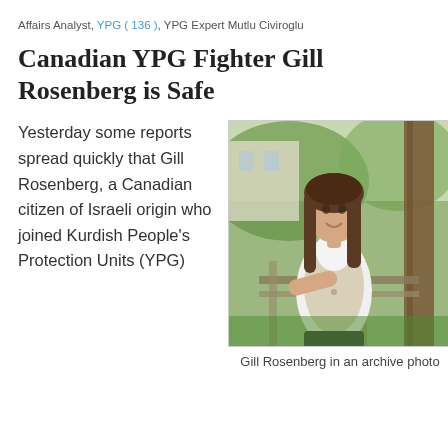Affairs Analyst, YPG ( 136 ), YPG Expert Mutlu Civiroglu
Canadian YPG Fighter Gill Rosenberg is Safe
Yesterday some reports spread quickly that Gill Rosenberg, a Canadian citizen of Israeli origin who joined Kurdish People's Protection Units (YPG)
[Figure (photo): Portrait photo of Gill Rosenberg, a woman with long brown hair, wearing a white shirt and light vest, leaning against a wooden railing outdoors in a garden setting.]
Gill Rosenberg in an archive photo